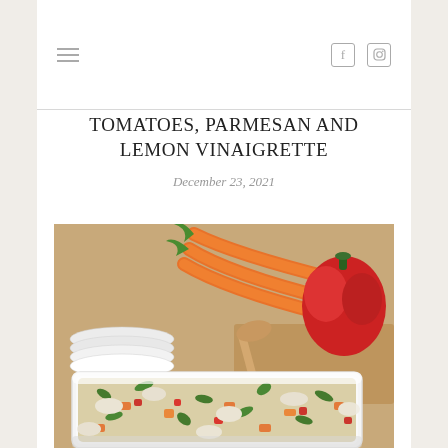TOMATOES, PARMESAN AND LEMON VINAIGRETTE
December 23, 2021
[Figure (photo): A white baking dish filled with a grain salad containing chicken pieces, diced carrots, red peppers, and fresh herbs. In the background, whole carrots and a red bell pepper are visible alongside a wooden spoon. White plates are stacked to the left.]